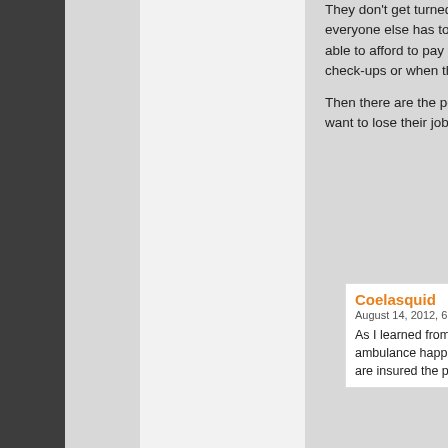They don't get turned away from everyone else has to pay for it. able to afford to pay for health-c check-ups or when they first ge
Then there are the people who want to lose their jobs and/or pa
Coelasquid
August 14, 2012, 6:11 am |
As I learned from my rece ambulance happens to ta are insured the provider w
taekwondogirl
August 16, 2012, 11:56 am | Reply
Nope! Obamacare hasn't kicke
From AK
August 18, 2012, 1:57 am | Reply
And that's how you can tell its election year, Johny, everyone is